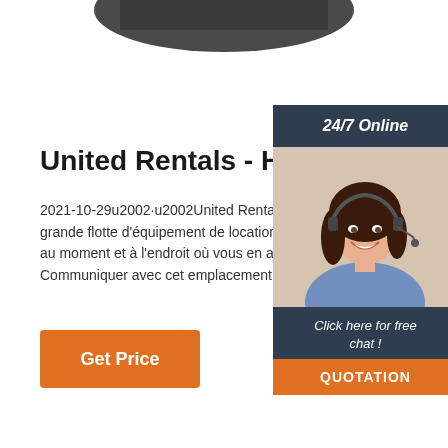[Figure (photo): Partial view of dark equipment/machinery at the top of the page]
United Rentals - Houston
2021-10-29u2002·u2002United Rentals possè grande flotte d'équipement de location du mor au moment et à l'endroit où vous en avez bes Communiquer avec cet emplacement à Houst
[Figure (infographic): Right sidebar with '24/7 Online' header, photo of smiling woman with headset, 'Click here for free chat!' text, and orange QUOTATION button]
Get Price